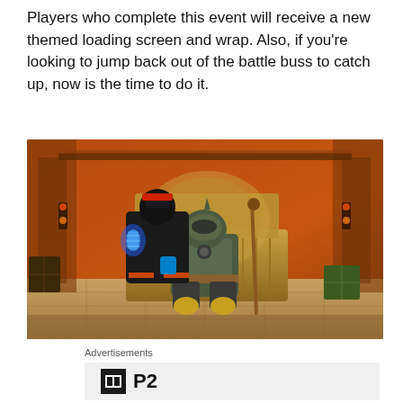Players who complete this event will receive a new themed loading screen and wrap. Also, if you're looking to jump back out of the battle buss to catch up, now is the time to do it.
[Figure (illustration): Illustration of two armored characters in a Star Wars style setting. One character in black armor with a red headband sits on a throne holding a blue hologram, wearing orange-accented knee pads. The second character in Mandalorian-style green and gray armor sits in the foreground holding a staff, with red gloved hands and yellow knee pads. The background shows an orange-lit room with decorative columns.]
Advertisements
[Figure (logo): P2 advertisement logo: dark square icon with a stylized H-like symbol in white, followed by bold text 'P2' on a light gray background.]